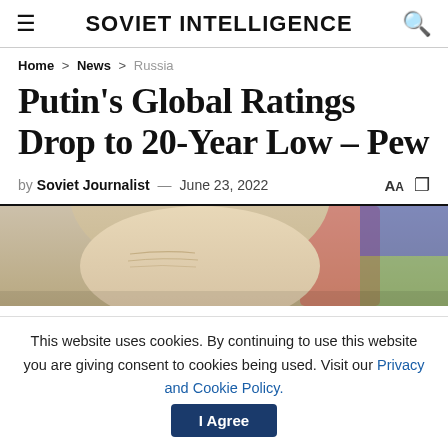Soviet Intelligence
Home > News > Russia
Putin's Global Ratings Drop to 20-Year Low – Pew
by Soviet Journalist — June 23, 2022
[Figure (photo): Partial photo of a person's head/face, cropped at the forehead showing hair and skin tones, with a colorful blurred background]
This website uses cookies. By continuing to use this website you are giving consent to cookies being used. Visit our Privacy and Cookie Policy. [I Agree button]